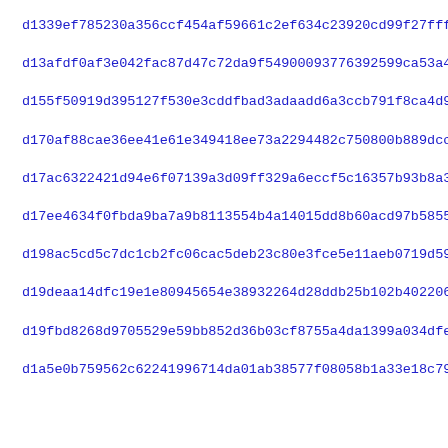d1339ef785230a356ccf454af59661c2ef634c23920cd99f27fff27c25638a
d13afdf0af3e042fac87d47c72da9f54900093776392599ca53a471fcb5cce
d155f50919d395127f530e3cddfbad3adaadd6a3ccb791f8ca4d92d9be38b
d170af88cae36ee41e61e349418ee73a2294482c750800b889dcc23bb1778
d17ac6322421d94e6f07139a3d09ff329a6eccf5c16357b93b8a3a8a863cc
d17ee4634f0fbda9ba7a9b8113554b4a14015dd8b60acd97b5855cd770317
d198ac5cd5c7dc1cb2fc06cac5deb23c80e3fce5e11aeb0719d59f78be789
d19deaa14dfc19e1e80945654e38932264d28ddb25b102b4022061e092b9e
d19fbd8268d9705529e59bb852d36b03cf8755a4da1399a034dfec4f91e25
d1a5e0b759562c62241996714da01ab38577f08058b1a33e18c796e9f97efc